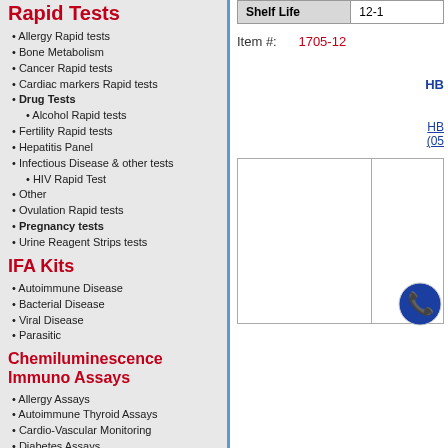Rapid Tests
• Allergy Rapid tests
• Bone Metabolism
• Cancer Rapid tests
• Cardiac markers Rapid tests
• Drug Tests
• Alcohol Rapid tests
• Fertility Rapid tests
• Hepatitis Panel
• Infectious Disease & other tests
• HIV Rapid Test
• Other
• Ovulation Rapid tests
• Pregnancy tests
• Urine Reagent Strips tests
IFA Kits
• Autoimmune Disease
• Bacterial Disease
• Viral Disease
• Parasitic
Chemiluminescence Immuno Assays
• Allergy Assays
• Autoimmune Thyroid Assays
• Cardio-Vascular Monitoring
• Diabetes Assays
• Fertility Assays
• Growth Deficiency
• Infectious Disease Assays
• Others
• Steroid Assays
• Thyroid Assays
| Shelf Life | 12-18 |
| --- | --- |
Item #: 1705-12
HB
HB (05
[Figure (other): Two-cell image table with empty cells and a phone icon in the bottom right]